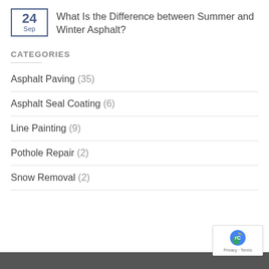What Is the Difference between Summer and Winter Asphalt?
CATEGORIES
Asphalt Paving (35)
Asphalt Seal Coating (6)
Line Painting (9)
Pothole Repair (2)
Snow Removal (2)
Privacy · Terms